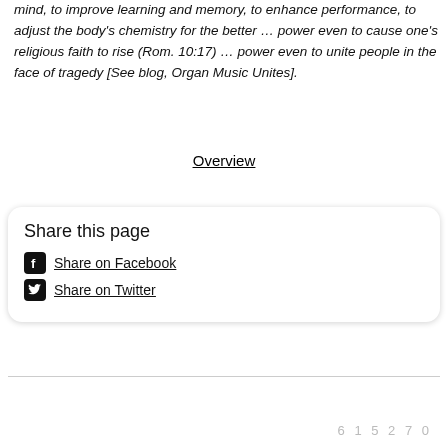mind, to improve learning and memory, to enhance performance, to adjust the body's chemistry for the better ... power even to cause one's religious faith to rise (Rom. 10:17) ... power even to unite people in the face of tragedy [See blog, Organ Music Unites].
Overview
Share this page
Share on Facebook
Share on Twitter
6 1 5 2 7 0